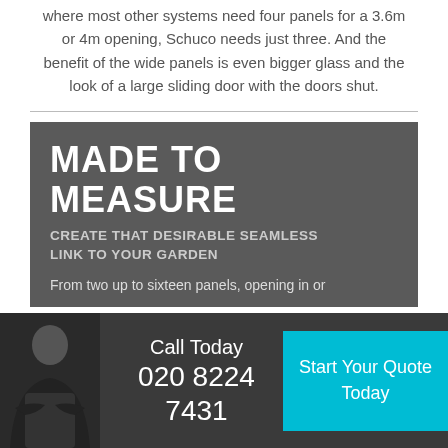where most other systems need four panels for a 3.6m or 4m opening, Schuco needs just three.  And the benefit of the wide panels is even bigger glass and the look of a large sliding door with the doors shut.
MADE TO MEASURE
CREATE THAT DESIRABLE SEAMLESS LINK TO YOUR GARDEN
From two up to sixteen panels, opening in or
[Figure (photo): Woman in business attire with arms crossed, smiling]
Call Today
020 8224
7431
Start Your Quote Today